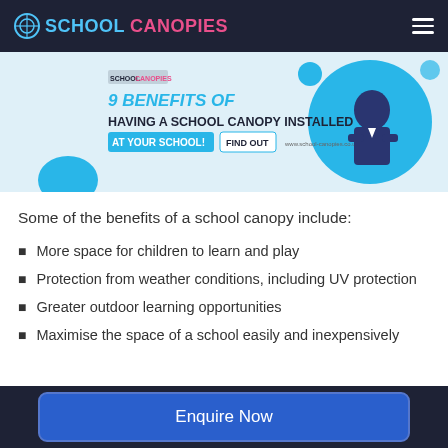SCHOOL CANOPIES
[Figure (infographic): Banner graphic: '9 BENEFITS OF HAVING A SCHOOL CANOPY INSTALLED AT YOUR SCHOOL!' with a woman in school uniform on a blue background]
Some of the benefits of a school canopy include:
More space for children to learn and play
Protection from weather conditions, including UV protection
Greater outdoor learning opportunities
Maximise the space of a school easily and inexpensively
Enquire Now